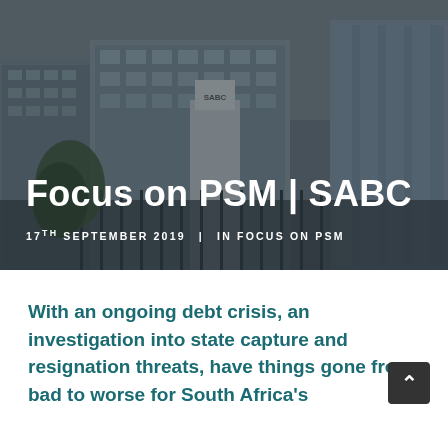[Figure (photo): Aerial/street-level photo of SABC headquarters building — a large modern glass-and-concrete office complex with signage reading SABC, under a cloudy grey sky, with trees and a gate visible in the foreground. The image has a dark overlay.]
Focus on PSM | SABC
17TH SEPTEMBER 2019   |   IN FOCUS ON PSM
With an ongoing debt crisis, an investigation into state capture and resignation threats, have things gone from bad to worse for South Africa's